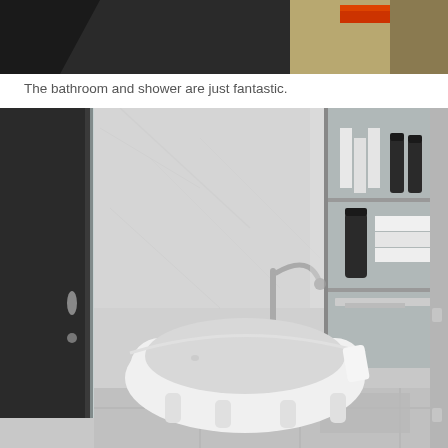[Figure (photo): Partial view of a dark room interior, cropped at top of page]
The bathroom and shower are just fantastic.
[Figure (photo): Luxury hotel bathroom with a white freestanding clawfoot bathtub, marble walls, a floor-standing chrome faucet, built-in wall shelves with dark bottles and folded white towels, and a dark door on the left]